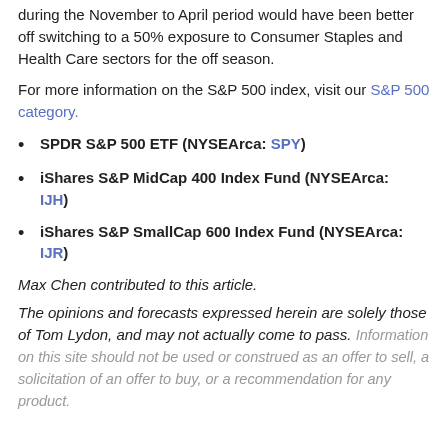during the November to April period would have been better off switching to a 50% exposure to Consumer Staples and Health Care sectors for the off season.
For more information on the S&P 500 index, visit our S&P 500 category.
SPDR S&P 500 ETF (NYSEArca: SPY)
iShares S&P MidCap 400 Index Fund (NYSEArca: IJH)
iShares S&P SmallCap 600 Index Fund (NYSEArca: IJR)
Max Chen contributed to this article.
The opinions and forecasts expressed herein are solely those of Tom Lydon, and may not actually come to pass. Information on this site should not be used or construed as an offer to sell, a solicitation of an offer to buy, or a recommendation for any product.